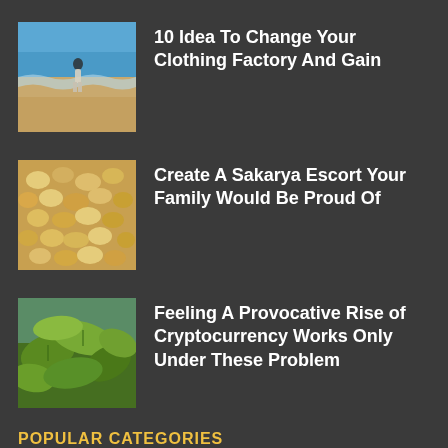[Figure (photo): Person standing at beach with waves]
10 Idea To Change Your Clothing Factory And Gain
[Figure (photo): Close-up of seeds or beans]
Create A Sakarya Escort Your Family Would Be Proud Of
[Figure (photo): Green leaves close-up]
Feeling A Provocative Rise of Cryptocurrency Works Only Under These Problem
POPULAR CATEGORIES